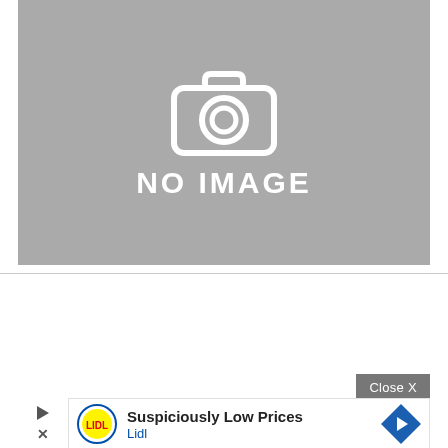[Figure (other): Gray placeholder image with a camera icon and 'NO IMAGE' text in white, indicating a missing product or content image.]
[Figure (other): Advertisement bar for Lidl with 'Suspiciously Low Prices' text, Lidl logo, play/close controls, and a blue directional arrow icon. Includes a 'Close X' button above.]